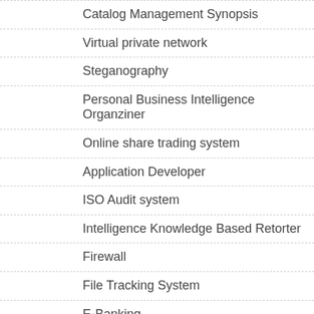Catalog Management Synopsis
Virtual private network
Steganography
Personal Business Intelligence Organziner
Online share trading system
Application Developer
ISO Audit system
Intelligence Knowledge Based Retorter
Firewall
File Tracking System
E-Banking
Dissertation Introduction